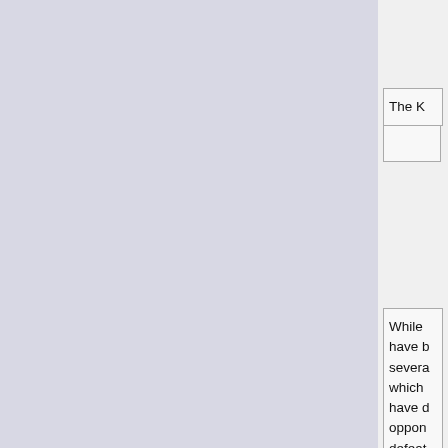The K
While have have k severa which have d oppon defeat as Bel
I think minus least n would